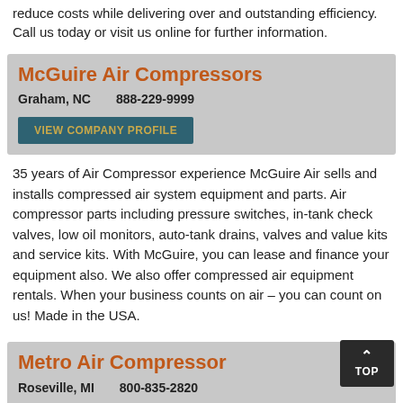reduce costs while delivering over and outstanding efficiency. Call us today or visit us online for further information.
McGuire Air Compressors
Graham, NC    888-229-9999
VIEW COMPANY PROFILE
35 years of Air Compressor experience McGuire Air sells and installs compressed air system equipment and parts. Air compressor parts including pressure switches, in-tank check valves, low oil monitors, auto-tank drains, valves and value kits and service kits. With McGuire, you can lease and finance your equipment also. We also offer compressed air equipment rentals. When your business counts on air – you can count on us! Made in the USA.
Metro Air Compressor
Roseville, MI    800-835-2820
VIEW COMPANY PROFILE
Metro Air Compressor is a full-line distributor of compressed